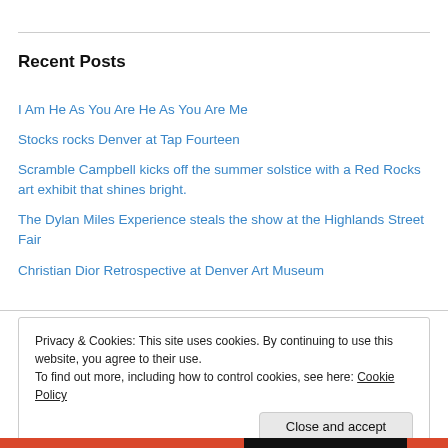Recent Posts
I Am He As You Are He As You Are Me
Stocks rocks Denver at Tap Fourteen
Scramble Campbell kicks off the summer solstice with a Red Rocks art exhibit that shines bright.
The Dylan Miles Experience steals the show at the Highlands Street Fair
Christian Dior Retrospective at Denver Art Museum
Privacy & Cookies: This site uses cookies. By continuing to use this website, you agree to their use.
To find out more, including how to control cookies, see here: Cookie Policy
Close and accept